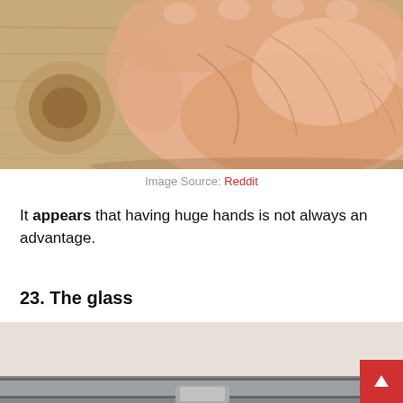[Figure (photo): Close-up photo of an open human palm held above a wooden surface, showing the lines and texture of the hand.]
Image Source: Reddit
It appears that having huge hands is not always an advantage.
23. The glass
[Figure (photo): Partial photo showing the bottom of an interior scene, beige wall and what appears to be a glass or window frame at the bottom edge.]